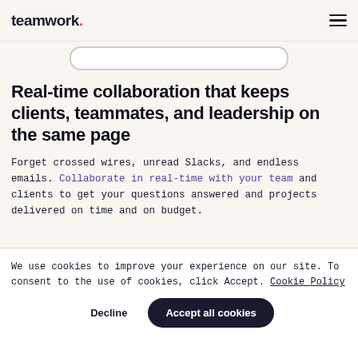teamwork.
[Figure (other): Partial UI element — a rounded rectangle input/button bar visible at the top of the content area]
Real-time collaboration that keeps clients, teammates, and leadership on the same page
Forget crossed wires, unread Slacks, and endless emails. Collaborate in real-time with your team and clients to get your questions answered and projects delivered on time and on budget.
We use cookies to improve your experience on our site. To consent to the use of cookies, click Accept. Cookie Policy
Decline  Accept all cookies